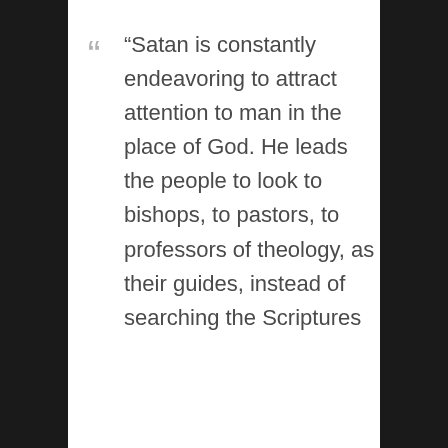“Satan is constantly endeavoring to attract attention to man in the place of God. He leads the people to look to bishops, to pastors, to professors of theology, as their guides, instead of searching the Scriptures